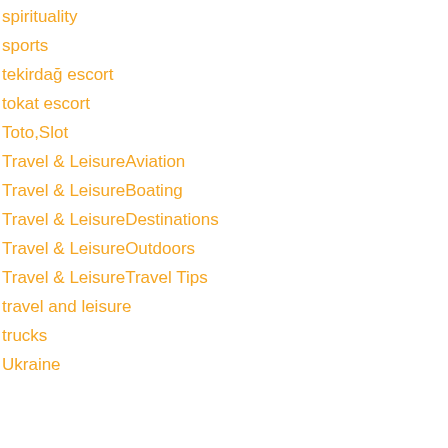spirituality
sports
tekirdağ escort
tokat escort
Toto,Slot
Travel & LeisureAviation
Travel & LeisureBoating
Travel & LeisureDestinations
Travel & LeisureOutdoors
Travel & LeisureTravel Tips
travel and leisure
trucks
Ukraine